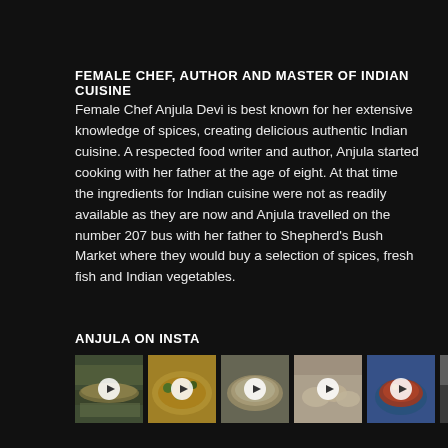FEMALE CHEF, AUTHOR AND MASTER OF INDIAN CUISINE
Female Chef Anjula Devi is best known for her extensive knowledge of spices, creating delicious authentic Indian cuisine. A respected food writer and author, Anjula started cooking with her father at the age of eight. At that time the ingredients for Indian cuisine were not as readily available as they are now and Anjula travelled on the number 207 bus with her father to Shepherd's Bush Market where they would buy a selection of spices, fresh fish and Indian vegetables.
ANJULA ON INSTA
[Figure (photo): Grid of 6 Instagram video thumbnails showing Indian food dishes with play buttons]
[Figure (photo): Thumbnail 1: Flatbread/chapati dish]
[Figure (photo): Thumbnail 2: Vegetable curry dish]
[Figure (photo): Thumbnail 3: Round flatbread/dosa on pan]
[Figure (photo): Thumbnail 4: Dumplings/momos]
[Figure (photo): Thumbnail 5: Dal/lentil dish in blue bowl]
[Figure (photo): Thumbnail 6: Cooking/kitchen scene]